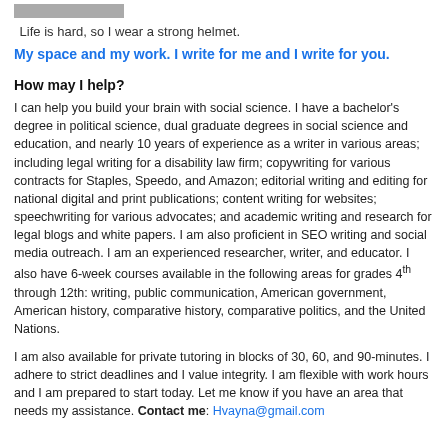[Figure (photo): Cropped photo strip at top of page]
Life is hard, so I wear a strong helmet.
My space and my work. I write for me and I write for you.
How may I help?
I can help you build your brain with social science. I have a bachelor's degree in political science, dual graduate degrees in social science and education, and nearly 10 years of experience as a writer in various areas; including legal writing for a disability law firm; copywriting for various contracts for Staples, Speedo, and Amazon; editorial writing and editing for national digital and print publications; content writing for websites; speechwriting for various advocates; and academic writing and research for legal blogs and white papers. I am also proficient in SEO writing and social media outreach. I am an experienced researcher, writer, and educator. I also have 6-week courses available in the following areas for grades 4th through 12th: writing, public communication, American government, American history, comparative history, comparative politics, and the United Nations.
I am also available for private tutoring in blocks of 30, 60, and 90-minutes. I adhere to strict deadlines and I value integrity. I am flexible with work hours and I am prepared to start today. Let me know if you have an area that needs my assistance. Contact me: Hvayna@gmail.com